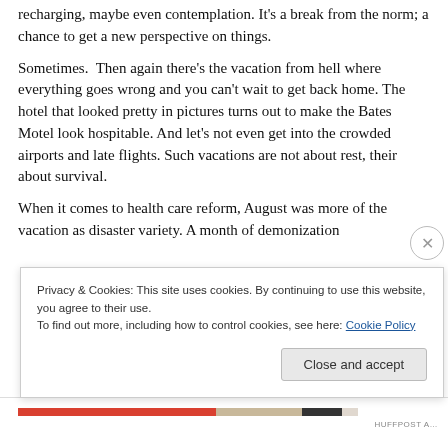recharging, maybe even contemplation. It's a break from the norm; a chance to get a new perspective on things.
Sometimes.  Then again there's the vacation from hell where everything goes wrong and you can't wait to get back home. The hotel that looked pretty in pictures turns out to make the Bates Motel look hospitable. And let's not even get into the crowded airports and late flights. Such vacations are not about rest, their about survival.
When it comes to health care reform, August was more of the vacation as disaster variety. A month of demonization
Privacy & Cookies: This site uses cookies. By continuing to use this website, you agree to their use.
To find out more, including how to control cookies, see here: Cookie Policy
Close and accept